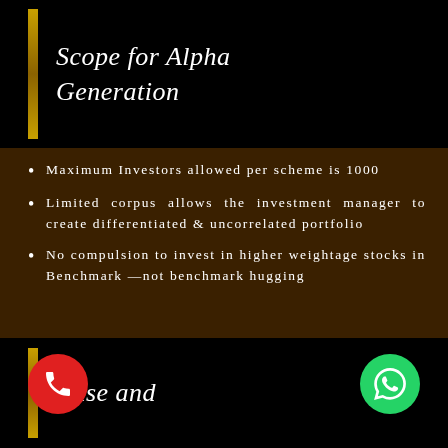Scope for Alpha Generation
Maximum Investors allowed per scheme is 1000
Limited corpus allows the investment manager to create differentiated & uncorrelated portfolio
No compulsion to invest in higher weightage stocks in Benchmark —not benchmark hugging
Ease and